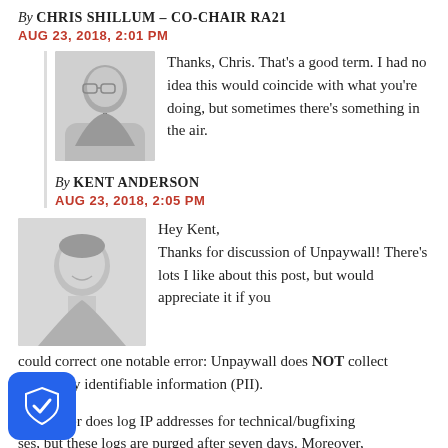By CHRIS SHILLUM – CO-CHAIR RA21
AUG 23, 2018, 2:01 PM
Thanks, Chris. That’s a good term. I had no idea this would coincide with what you’re doing, but sometimes there’s something in the air.
By KENT ANDERSON
AUG 23, 2018, 2:05 PM
Hey Kent,
Thanks for discussion of Unpaywall! There’s lots I like about this post, but would appreciate it if you could correct one notable error: Unpaywall does NOT collect personally identifiable information (PII).
Our server does log IP addresses for technical/bugfixing ses, but these logs are purged after seven days. Moreover, dresses are *not* generally considered PII unless they can